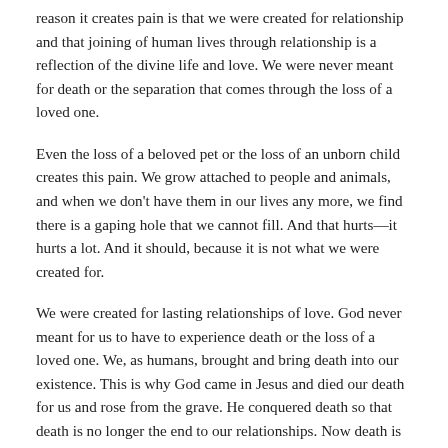reason it creates pain is that we were created for relationship and that joining of human lives through relationship is a reflection of the divine life and love. We were never meant for death or the separation that comes through the loss of a loved one.
Even the loss of a beloved pet or the loss of an unborn child creates this pain. We grow attached to people and animals, and when we don't have them in our lives any more, we find there is a gaping hole that we cannot fill. And that hurts—it hurts a lot. And it should, because it is not what we were created for.
We were created for lasting relationships of love. God never meant for us to have to experience death or the loss of a loved one. We, as humans, brought and bring death into our existence. This is why God came in Jesus and died our death for us and rose from the grave. He conquered death so that death is no longer the end to our relationships. Now death is merely a stepping stone or door to an eternal life of knowing, loving, and being truly known and loved.
Even so, death happens and we have to deal with its reality. One of the things I learned in my Christian counseling training and